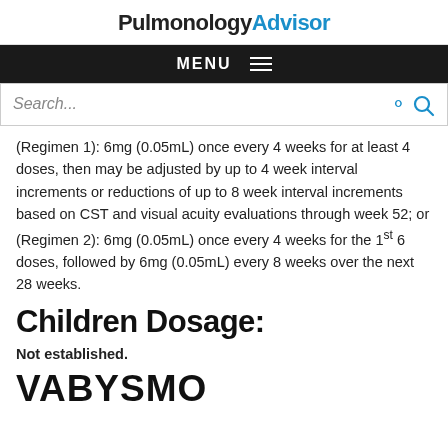PulmonologyAdvisor
MENU
Search...
(Regimen 1): 6mg (0.05mL) once every 4 weeks for at least 4 doses, then may be adjusted by up to 4 week interval increments or reductions of up to 8 week interval increments based on CST and visual acuity evaluations through week 52; or (Regimen 2): 6mg (0.05mL) once every 4 weeks for the 1st 6 doses, followed by 6mg (0.05mL) every 8 weeks over the next 28 weeks.
Children Dosage:
Not established.
VABYSMO